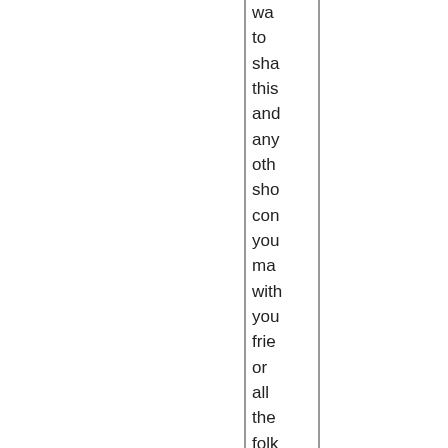wa
to
sha
this
and
any
oth
sho
con
you
ma
with
you
frie
or
all
the
folk
you
sup
in
you
job